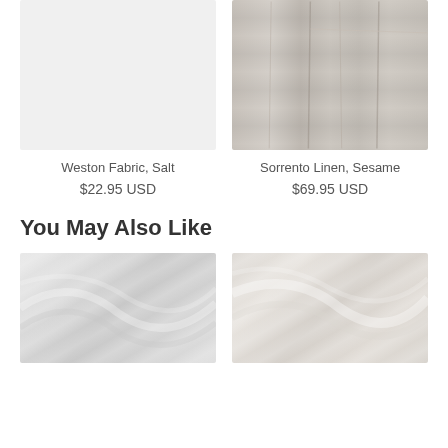[Figure (photo): Weston Fabric, Salt - light grey/white fabric swatch on plain background]
[Figure (photo): Sorrento Linen, Sesame - beige/sesame linen fabric with vertical folds and frayed edges]
Weston Fabric, Salt
$22.95 USD
Sorrento Linen, Sesame
$69.95 USD
You May Also Like
[Figure (photo): Close-up of light grey woven fabric with diagonal folds]
[Figure (photo): Close-up of cream/beige textured fabric with soft folds]